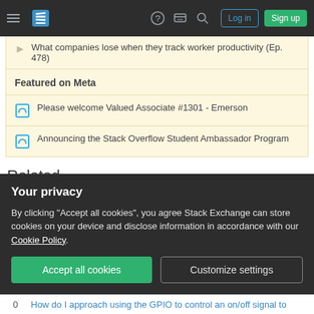Stack Overflow navigation bar with Log in and Sign up buttons
What companies lose when they track worker productivity (Ep. 478)
Featured on Meta
Please welcome Valued Associate #1301 - Emerson
Announcing the Stack Overflow Student Ambassador Program
Related
4  Closing a circuit with GPIO
Your privacy
By clicking "Accept all cookies", you agree Stack Exchange can store cookies on your device and disclose information in accordance with our Cookie Policy.
0  How do I approach using the GPIO to control an on/off signal to...